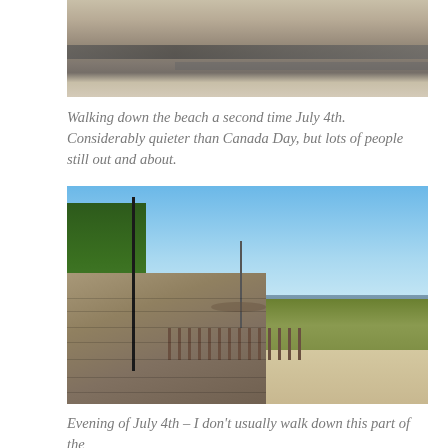[Figure (photo): Cropped top portion of a beach scene showing sand and a wooden boardwalk/fence stripe, viewed from above.]
Walking down the beach a second time July 4th. Considerably quieter than Canada Day, but lots of people still out and about.
[Figure (photo): A boardwalk path on a sunny day with lamp posts on the left, green trees on the left side, a wooden fence separating the boardwalk from the beach on the right, open sandy beach and distant water/hills in the background under a clear blue sky.]
Evening of July 4th – I don't usually walk down this part of the